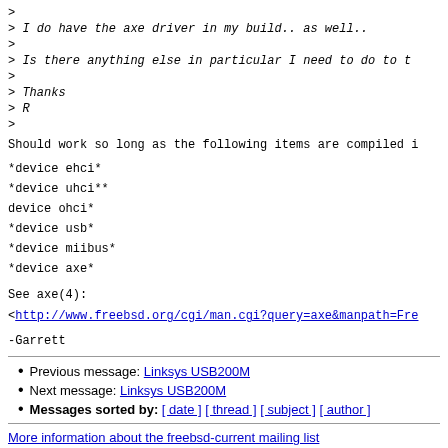> I do have the axe driver in my build.. as well..
> Is there anything else in particular I need to do to t
> Thanks
> R
Should work so long as the following items are compiled i
*device ehci*
*device uhci**
device ohci*
*device usb*
*device miibus*
*device axe*
See axe(4):
<http://www.freebsd.org/cgi/man.cgi?query=axe&manpath=Fre
-Garrett
Previous message: Linksys USB200M
Next message: Linksys USB200M
Messages sorted by: [ date ] [ thread ] [ subject ] [ author ]
More information about the freebsd-current mailing list